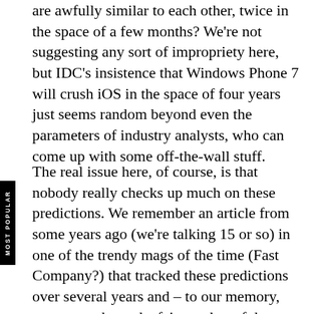are awfully similar to each other, twice in the space of a few months? We're not suggesting any sort of impropriety here, but IDC's insistence that Windows Phone 7 will crush iOS in the space of four years just seems random beyond even the parameters of industry analysts, who can come up with some off-the-wall stuff.
The real issue here, of course, is that nobody really checks up much on these predictions. We remember an article from some years ago (we're talking 15 or so) in one of the trendy mags of the time (Fast Company?) that tracked these predictions over several years and – to our memory, anyway – showed a fair number of them to be bogus. Still, will anybody remember in 2015 what IDC said about WP7, whether it's swamping iOS or languishing in third place (or worse)? Probably not. But partners, IT pros and corporate investors are supposed to have